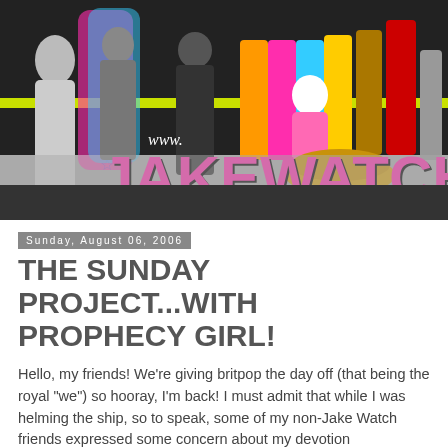[Figure (illustration): JakeWatch.com website banner with colorful pop-culture celebrity silhouettes including Marilyn Monroe, Nixon, Elvis, Beatles Sgt. Pepper costumes, and others on a dark background with pink 'JAKEWATCH' logo text and www./. com script text]
Sunday, August 06, 2006
THE SUNDAY PROJECT...WITH PROPHECY GIRL!
Hello, my friends! We're giving britpop the day off (that being the royal "we") so hooray, I'm back! I must admit that while I was helming the ship, so to speak, some of my non-Jake Watch friends expressed some concern about my devotion